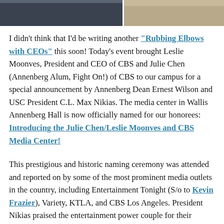[Figure (photo): Two side-by-side photos at top of page: left photo shows a dark interior scene, right photo shows chairs/furniture in a room]
I didn't think that I'd be writing another "Rubbing Elbows with CEOs" this soon! Today's event brought Leslie Moonves, President and CEO of CBS and Julie Chen (Annenberg Alum, Fight On!) of CBS to our campus for a special announcement by Annenberg Dean Ernest Wilson and USC President C.L. Max Nikias. The media center in Wallis Annenberg Hall is now officially named for our honorees: Introducing the Julie Chen/Leslie Moonves and CBS Media Center!
This prestigious and historic naming ceremony was attended and reported on by some of the most prominent media outlets in the country, including Entertainment Tonight (S/o to Kevin Frazier), Variety, KTLA, and CBS Los Angeles. President Nikias praised the entertainment power couple for their generosity and passion for education (and presented them with